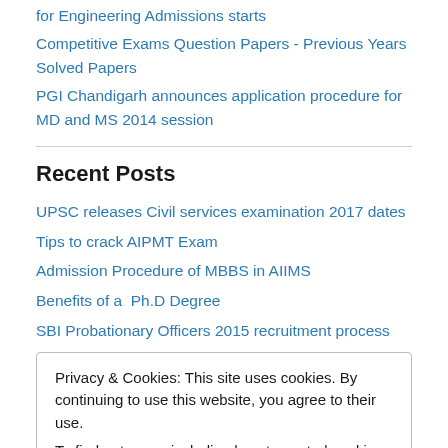for Engineering Admissions starts
Competitive Exams Question Papers - Previous Years Solved Papers
PGI Chandigarh announces application procedure for MD and MS 2014 session
Recent Posts
UPSC releases Civil services examination 2017 dates
Tips to crack AIPMT Exam
Admission Procedure of MBBS in AIIMS
Benefits of a  Ph.D Degree
SBI Probationary Officers 2015 recruitment process
Privacy & Cookies: This site uses cookies. By continuing to use this website, you agree to their use.
To find out more, including how to control cookies, see here: Cookie Policy
Close and accept
... All india Posts SET All india Entrance Exam Also in MBBS ...